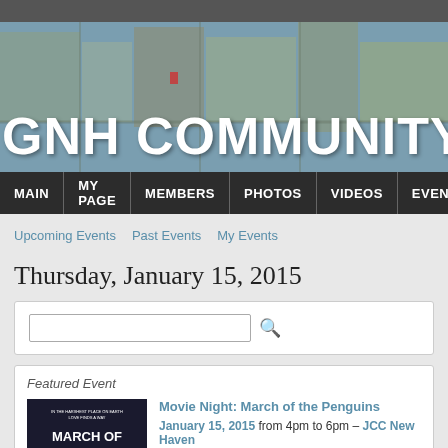[Figure (screenshot): Dark gray top bar]
[Figure (photo): Aerial photo of city buildings used as hero banner background with GNH COMMUNITY text overlay]
GNH COMMUNITY
MAIN | MY PAGE | MEMBERS | PHOTOS | VIDEOS | EVENTS
Upcoming Events   Past Events   My Events
Thursday, January 15, 2015
Featured Event
Movie Night: March of the Penguins
January 15, 2015 from 4pm to 6pm – JCC New Haven
Gather 'round for a free family movie eve... JCC Living Room. We've got a great line...